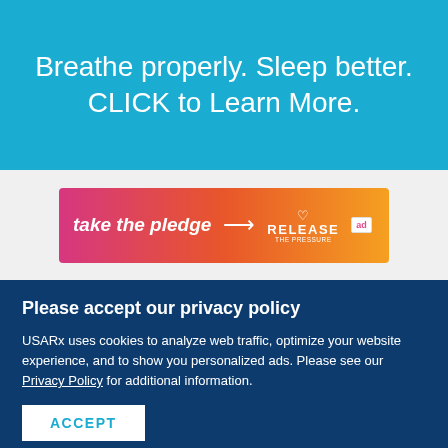Breathe properly. Sleep better. CLICK to Learn More.
[Figure (infographic): Take the pledge banner ad with gradient pink-orange background, arrow, Release the Pressure logo and ad badge]
Please accept our privacy policy
USARx uses cookies to analyze web traffic, optimize your website experience, and to show you personalized ads. Please see our Privacy Policy for additional information.
ACCEPT
[Figure (infographic): COVID-19 vaccine awareness ad: It's okay to question. Now get the facts on COVID-19 vaccines. GetVaccineAnswers.org]